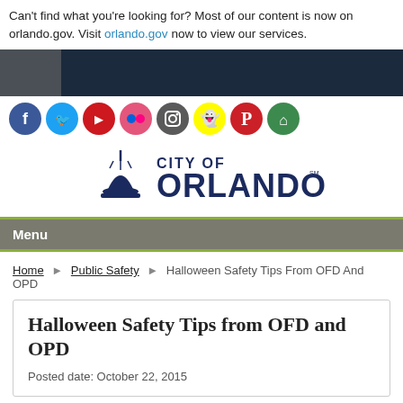Can't find what you're looking for? Most of our content is now on orlando.gov. Visit orlando.gov now to view our services.
[Figure (screenshot): City of Orlando website header banner with dark navy background]
[Figure (infographic): Social media icons row: Facebook (blue), Twitter (light blue), YouTube (red), Flickr (pink), Instagram (dark grey), Snapchat (yellow), Pinterest (red), Home (green)]
[Figure (logo): City of Orlando logo with fountain icon and CITY OF ORLANDO text in navy blue]
Menu
Home  Public Safety  Halloween Safety Tips From OFD And OPD
Halloween Safety Tips from OFD and OPD
Posted date: October 22, 2015